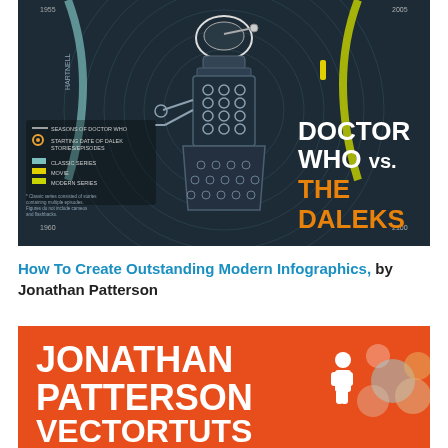[Figure (infographic): Doctor Who vs. The Daleks infographic showing a Dalek figure in the center with circular timeline data around it. Legend shows seasons of Doctor Who, starting dates of Dalek stories/episodes, Classic Series, Movie, and Modern Series. Title reads 'DOCTOR WHO vs. THE DALEKS' in white and orange text on dark background.]
How To Create Outstanding Modern Infographics, by Jonathan Patterson
[Figure (infographic): Orange background infographic/banner with bold white text reading 'JONATHAN PATTERSON' and below that 'VECTORTUTS+' with decorative circles and a person icon.]